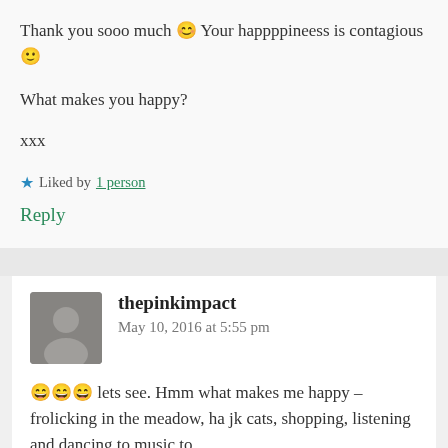Thank you sooo much 😊 Your happppineess is contagious 🙂
What makes you happy?
xxx
★ Liked by 1 person
Reply
thepinkimpact   May 10, 2016 at 5:55 pm
😄😄😄 lets see. Hmm what makes me happy – frolicking in the meadow, ha jk cats, shopping, listening and dancing to music to